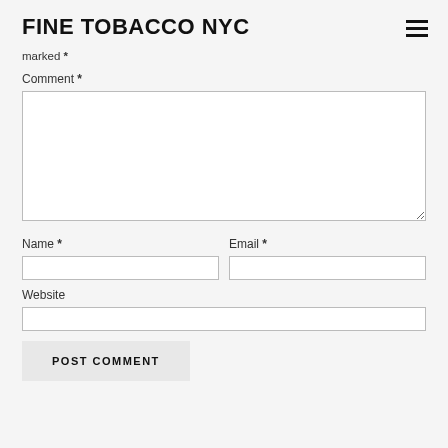FINE TOBACCO NYC
marked *
Comment *
Name *
Email *
Website
POST COMMENT